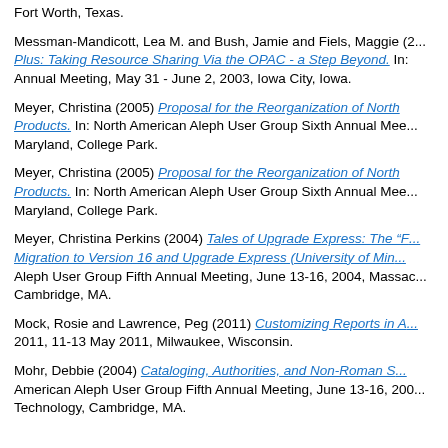Fort Worth, Texas.
Messman-Mandicott, Lea M. and Bush, Jamie and Fiels, Maggie (2... Plus: Taking Resource Sharing Via the OPAC - a Step Beyond. In: Annual Meeting, May 31 - June 2, 2003, Iowa City, Iowa.
Meyer, Christina (2005) Proposal for the Reorganization of North... Products. In: North American Aleph User Group Sixth Annual Mee... Maryland, College Park.
Meyer, Christina (2005) Proposal for the Reorganization of North... Products. In: North American Aleph User Group Sixth Annual Mee... Maryland, College Park.
Meyer, Christina Perkins (2004) Tales of Upgrade Express: The "F... Migration to Version 16 and Upgrade Express (University of Min... Aleph User Group Fifth Annual Meeting, June 13-16, 2004, Massac... Cambridge, MA.
Mock, Rosie and Lawrence, Peg (2011) Customizing Reports in A... 2011, 11-13 May 2011, Milwaukee, Wisconsin.
Mohr, Debbie (2004) Cataloging, Authorities, and Non-Roman S... American Aleph User Group Fifth Annual Meeting, June 13-16, 200... Technology, Cambridge, MA.